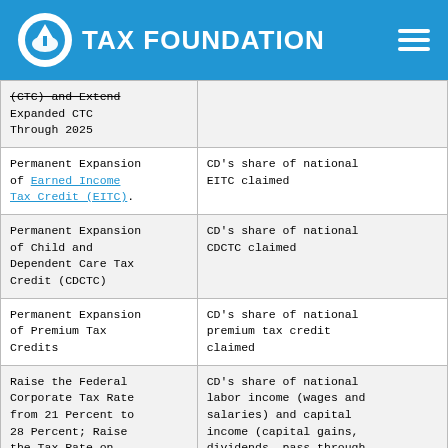TAX FOUNDATION
| Policy | Allocation Method |
| --- | --- |
| (CTC) and Extend Expanded CTC Through 2025 |  |
| Permanent Expansion of Earned Income Tax Credit (EITC). | CD's share of national EITC claimed |
| Permanent Expansion of Child and Dependent Care Tax Credit (CDCTC) | CD's share of national CDCTC claimed |
| Permanent Expansion of Premium Tax Credits | CD's share of national premium tax credit claimed |
| Raise the Federal Corporate Tax Rate from 21 Percent to 28 Percent; Raise the Tax Rate on Global Intangible Low-Tax Income (GILTI) and Tighten | CD's share of national labor income (wages and salaries) and capital income (capital gains, dividends, pass-through business income) weighted to reflect the economic incidence of |